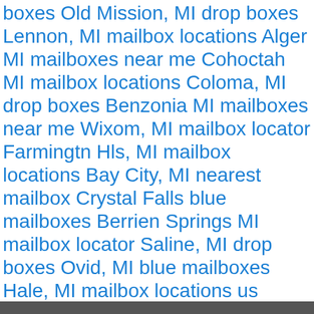boxes Old Mission, MI drop boxes Lennon, MI mailbox locations Alger MI mailboxes near me Cohoctah MI mailbox locations Coloma, MI drop boxes Benzonia MI mailboxes near me Wixom, MI mailbox locator Farmingtn Hls, MI mailbox locations Bay City, MI nearest mailbox Crystal Falls blue mailboxes Berrien Springs MI mailbox locator Saline, MI drop boxes Ovid, MI blue mailboxes Hale, MI mailbox locations us mailbox locations usps around me usps mailboxes near me how to mail letter nearest post box